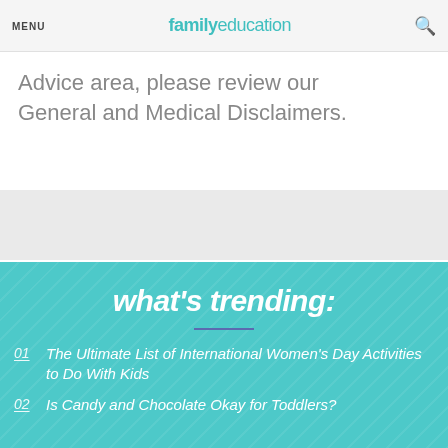MENU | familyeducation
Advice area, please review our General and Medical Disclaimers.
what's trending:
01 The Ultimate List of International Women's Day Activities to Do With Kids
02 Is Candy and Chocolate Okay for Toddlers?